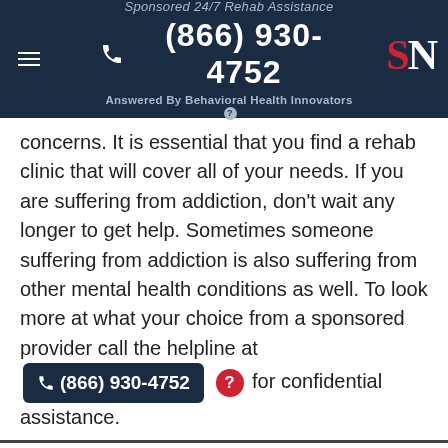Sponsored 24/7 Rehab Assistance | ☎ (866) 930-4752 | Answered By Behavioral Health Innovators | SN
concerns. It is essential that you find a rehab clinic that will cover all of your needs. If you are suffering from addiction, don't wait any longer to get help. Sometimes someone suffering from addiction is also suffering from other mental health conditions as well. To look more at what your choice from a sponsored provider call the helpline at ☎ (866) 930-4752 ? for confidential assistance.
Long Island Jewish Medical Center Methadone Maintenance Trt Progr
7559 263rd Street
Glen Oaks, NY 11004
7.17 miles from the center of Manorhaven